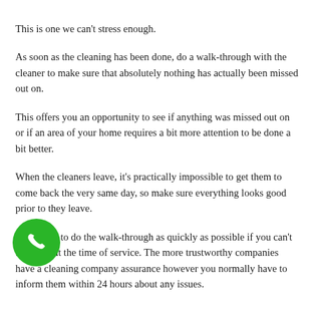This is one we can't stress enough.
As soon as the cleaning has been done, do a walk-through with the cleaner to make sure that absolutely nothing has actually been missed out on.
This offers you an opportunity to see if anything was missed out on or if an area of your home requires a bit more attention to be done a bit better.
When the cleaners leave, it's practically impossible to get them to come back the very same day, so make sure everything looks good prior to they leave.
Make sure to do the walk-through as quickly as possible if you can't be house at the time of service. The more trustworthy companies have a cleaning company assurance however you normally have to inform them within 24 hours about any issues.